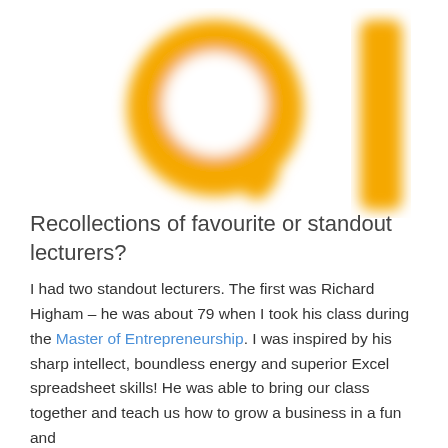[Figure (logo): Large golden/amber 'Q' letter logo with a vertical bar to the right, blurred/soft rendering on white background]
Recollections of favourite or standout lecturers?
I had two standout lecturers. The first was Richard Higham – he was about 79 when I took his class during the Master of Entrepreneurship. I was inspired by his sharp intellect, boundless energy and superior Excel spreadsheet skills! He was able to bring our class together and teach us how to grow a business in a fun and